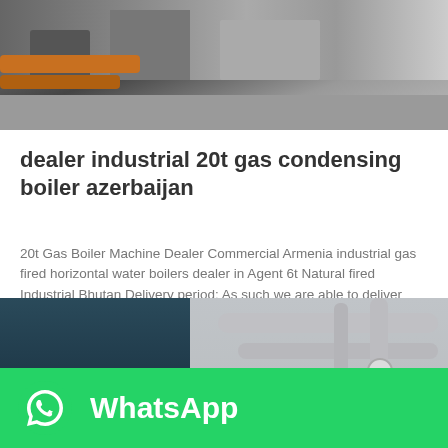[Figure (photo): Industrial boiler equipment in a facility, showing pipes and machinery on a factory floor]
dealer industrial 20t gas condensing boiler azerbaijan
20t Gas Boiler Machine Dealer Commercial Armenia industrial gas fired horizontal water boilers dealer in Agent 6t Natural fired Industrial Bhutan Delivery period: As such we are able to deliver packaged within 30 WNS series -fired (oil-fired) hot water…
Get Price
[Figure (photo): Industrial boiler room with large cylindrical boilers, pipes, and pressure gauges mounted on wall]
[Figure (logo): WhatsApp logo and text overlay on green background]